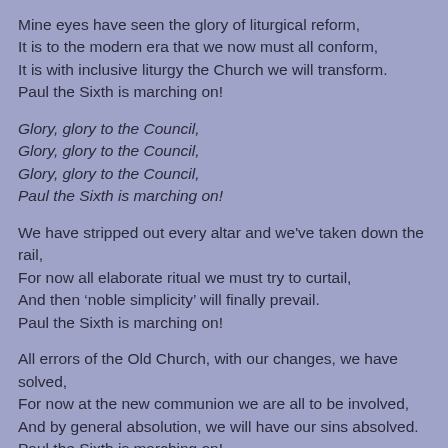Mine eyes have seen the glory of liturgical reform,
It is to the modern era that we now must all conform,
It is with inclusive liturgy the Church we will transform.
Paul the Sixth is marching on!
Glory, glory to the Council,
Glory, glory to the Council,
Glory, glory to the Council,
Paul the Sixth is marching on!
We have stripped out every altar and we've taken down the rail,
For now all elaborate ritual we must try to curtail,
And then ‘noble simplicity’ will finally prevail.
Paul the Sixth is marching on!
All errors of the Old Church, with our changes, we have solved,
For now at the new communion we are all to be involved,
And by general absolution, we will have our sins absolved.
Paul the Sixth is marching on!